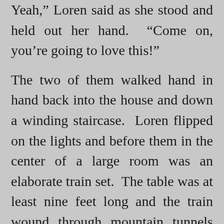Yeah,” Loren said as she stood and held out her hand. “Come on, you’re going to love this!”
The two of them walked hand in hand back into the house and down a winding staircase. Loren flipped on the lights and before them in the center of a large room was an elaborate train set. The table was at least nine feet long and the train wound through mountain tunnels and an elaborate town with houses, tiny people, park benches and city skylines. Whoever made this must have spent thousands of dollars. The detail was incredible.
Brandon turned to face Loren. “This is amazing and it’s going to be so much fun to destroy.”